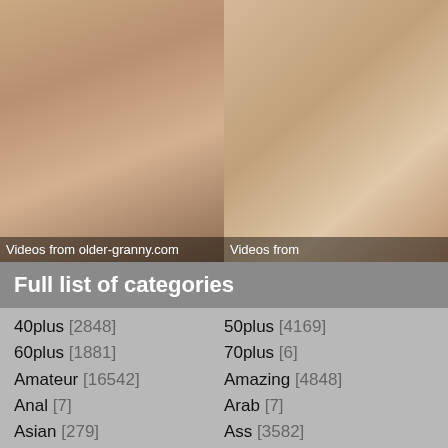[Figure (photo): Two cropped photos of women side by side. Left photo shows a woman in white stockings with caption 'Videos from older-granny.com'. Right photo shows a woman with caption 'Videos from'.]
Full list of categories
40plus [2848]
50plus [4169]
60plus [1881]
70plus [6]
Amateur [16542]
Amazing [4848]
Anal [7]
Arab [7]
Asian [279]
Ass [3582]
Babe [1390]
Bathroom [363]
Bbw [909]
Bdsm [4]
Beach [279]
Big Cock [566]
Big Tits [4392]
Bikini [161]
Bisexual [2]
Blonde [3979]
Blowjob [1151]
Bondage [96]
Bride [20]
Brunette [2834]
Bukkake [6]
Bus [11]